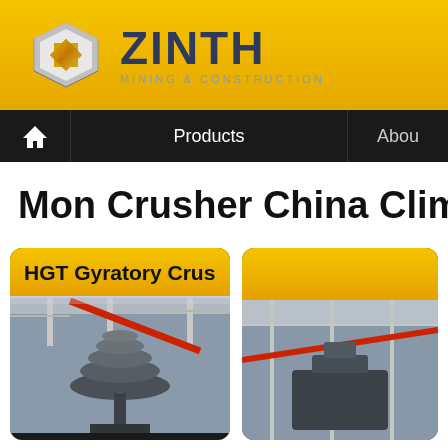[Figure (logo): ZINTH Mining & Construction logo with diamond-shaped metallic icon and dark blue company name text on yellow/gold gradient background header]
Products | About
Mon Crusher China Clima Crus
[Figure (photo): HGT Gyratory Crusher product card with yellow header and photo of a large industrial gyratory crusher in a factory/plant setting with red structural beams]
[Figure (photo): Second product card (partially visible) with yellow header on the right side, showing a partial industrial equipment photo]